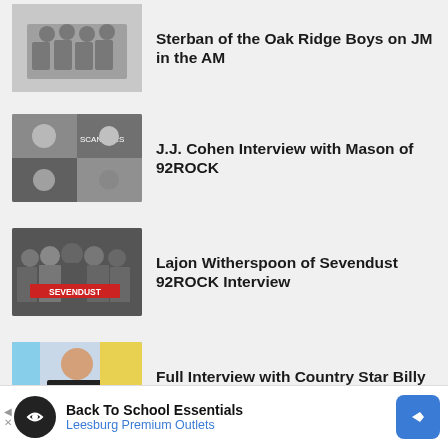Sterban of the Oak Ridge Boys on JM in the AM
J.J. Cohen Interview with Mason of 92ROCK
Lajon Witherspoon of Sevendust 92ROCK Interview
Full Interview with Country Star Billy Gilman on JM in the AM
David Frizzell and Mary ...
Back To School Essentials
Leesburg Premium Outlets